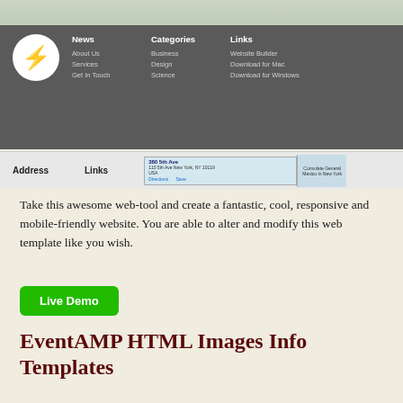[Figure (screenshot): Website footer screenshot showing a dark navigation bar with a white lightning bolt logo circle, News/Categories/Links columns with sub-links, copyright text, and an address/links bar with a Google Maps snippet below.]
Take this awesome web-tool and create a fantastic, cool, responsive and mobile-friendly website. You are able to alter and modify this web template like you wish.
Live Demo
EventAMP HTML Images Info Templates